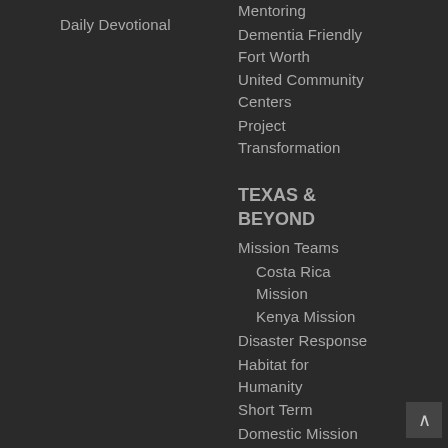Daily Devotional
Mentoring
Dementia Friendly Fort Worth
United Community Centers
Project Transformation
TEXAS & BEYOND
Mission Teams
Costa Rica Mission
Kenya Mission
Disaster Response
Habitat for Humanity
Short Term
Domestic Mission